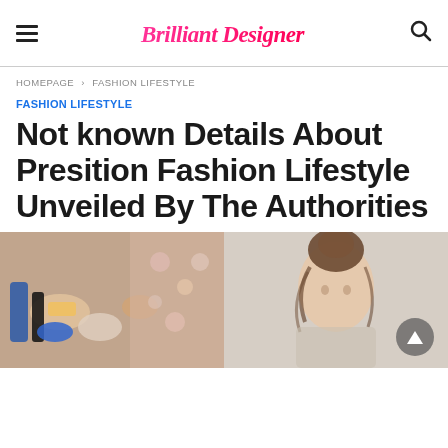Brilliant Designer
HOMEPAGE › FASHION LIFESTYLE
FASHION LIFESTYLE
Not known Details About Presition Fashion Lifestyle Unveiled By The Authorities
[Figure (photo): Split photo: left side shows beauty/makeup products on a surface, right side shows a woman with hair in a bun]